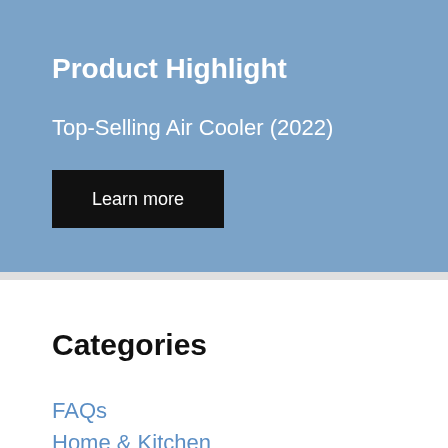Product Highlight
Top-Selling Air Cooler (2022)
Learn more
Categories
FAQs
Home & Kitchen